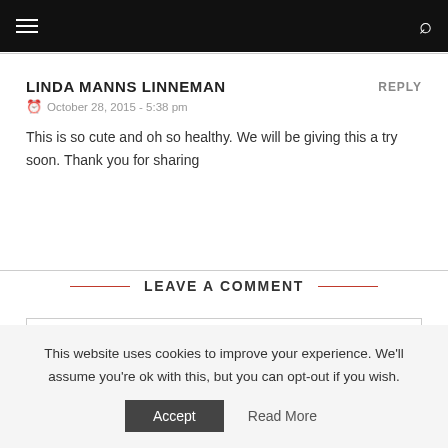Navigation bar with menu and search icons
LINDA MANNS LINNEMAN
October 28, 2015 - 5:38 pm
This is so cute and oh so healthy. We will be giving this a try soon. Thank you for sharing
LEAVE A COMMENT
This website uses cookies to improve your experience. We'll assume you're ok with this, but you can opt-out if you wish.
Accept | Read More